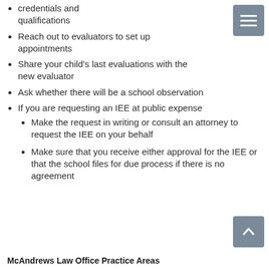Research evaluator credentials and qualifications
Reach out to evaluators to set up appointments
Share your child's last evaluations with the new evaluator
Ask whether there will be a school observation
If you are requesting an IEE at public expense
Make the request in writing or consult an attorney to request the IEE on your behalf
Make sure that you receive either approval for the IEE or that the school files for due process if there is no agreement
McAndrews Law Office Practice Areas